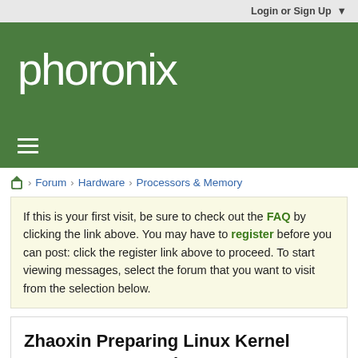Login or Sign Up ▼
[Figure (logo): Phoronix logo in white text on dark green background]
Forum › Hardware › Processors & Memory
If this is your first visit, be sure to check out the FAQ by clicking the link above. You may have to register before you can post: click the register link above to proceed. To start viewing messages, select the forum that you want to visit from the selection below.
Zhaoxin Preparing Linux Kernel Support For 7-Series Centaur CPUs